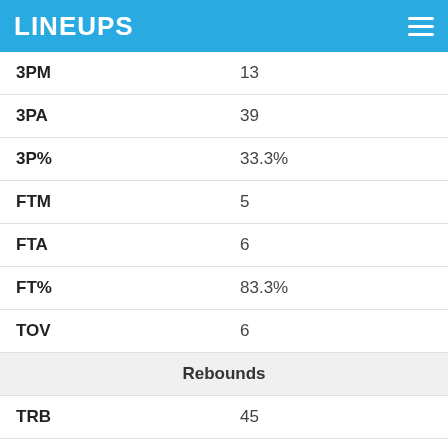LINEUPS
| Stat | Value |
| --- | --- |
| 3PM | 13 |
| 3PA | 39 |
| 3P% | 33.3% |
| FTM | 5 |
| FTA | 6 |
| FT% | 83.3% |
| TOV | 6 |
| Rebounds |  |
| TRB | 45 |
| ORB | 16 |
| DRB | 29 |
| Defense |  |